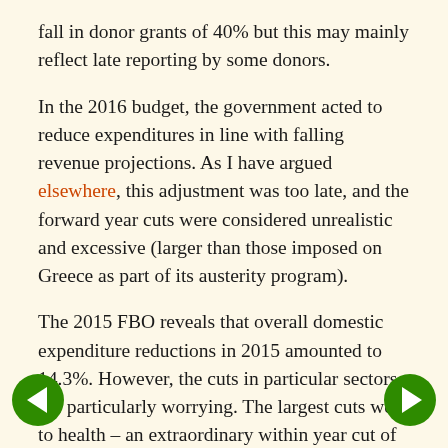fall in donor grants of 40% but this may mainly reflect late reporting by some donors.
In the 2016 budget, the government acted to reduce expenditures in line with falling revenue projections. As I have argued elsewhere, this adjustment was too late, and the forward year cuts were considered unrealistic and excessive (larger than those imposed on Greece as part of its austerity program).
The 2015 FBO reveals that overall domestic expenditure reductions in 2015 amounted to 14.3%. However, the cuts in particular sectors are particularly worrying. The largest cuts were to health – an extraordinary within year cut of 37.1%. Infrastructure was cut by 36.0%, and